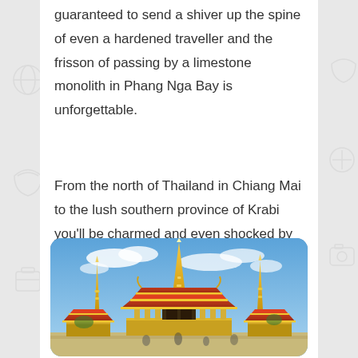guaranteed to send a shiver up the spine of even a hardened traveller and the frisson of passing by a limestone monolith in Phang Nga Bay is unforgettable.
From the north of Thailand in Chiang Mai to the lush southern province of Krabi you'll be charmed and even shocked by the raw beauty of Thailand.
[Figure (photo): A photograph of a golden Thai temple complex (likely Wat Phra Kaew / Grand Palace in Bangkok) with ornate golden spires (chedis) against a blue sky with white clouds.]